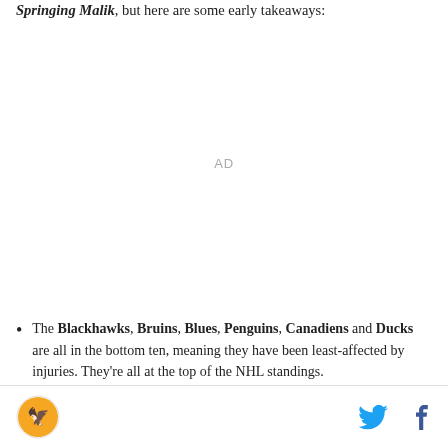Springing Malik, but here are some early takeaways:
[Figure (other): Advertisement placeholder area labeled AD]
The Blackhawks, Bruins, Blues, Penguins, Canadiens and Ducks are all in the bottom ten, meaning they have been least-affected by injuries. They're all at the top of the NHL standings.
Site logo, Twitter icon, Facebook icon